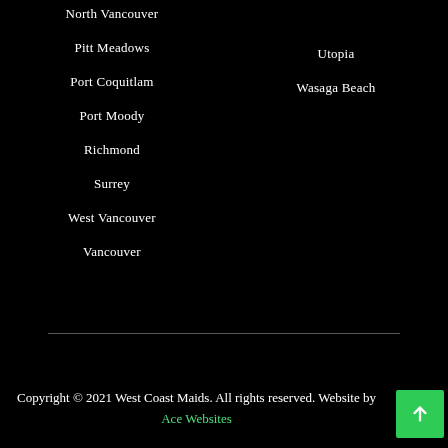North Vancouver
Pitt Meadows
Port Coquitlam
Port Moody
Richmond
Surrey
West Vancouver
Vancouver
Utopia
Wasaga Beach
Copyright © 2021 West Coast Maids. All rights reserved. Website by Ace Websites